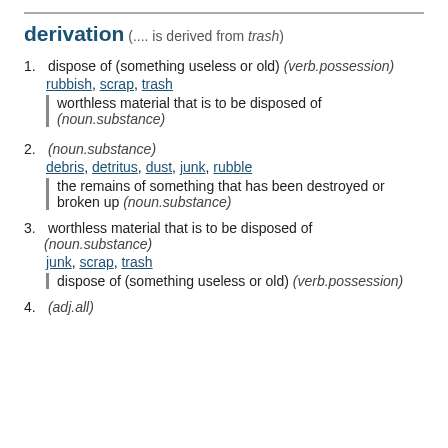derivation (.... is derived from trash)
1. dispose of (something useless or old) (verb.possession)
rubbish, scrap, trash
| worthless material that is to be disposed of (noun.substance)
2. (noun.substance)
debris, detritus, dust, junk, rubble
| the remains of something that has been destroyed or broken up (noun.substance)
3. worthless material that is to be disposed of (noun.substance)
junk, scrap, trash
| dispose of (something useless or old) (verb.possession)
4. (adj.all)